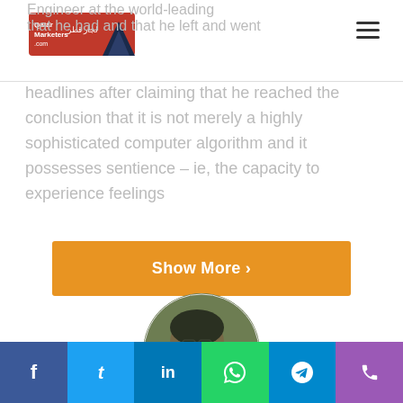Qatar Marketers logo and navigation
headlines after claiming that he reached the conclusion that it is not merely a highly sophisticated computer algorithm and it possesses sentience – ie, the capacity to experience feelings
Show More
[Figure (photo): Circular profile photo of Mohammed Shafiuddin Shahnawaz, a man wearing glasses shown in a side profile outdoors]
Mohammed Shafiuddin Shahnawaz
Social share bar: Facebook, Twitter, LinkedIn, WhatsApp, Telegram, Phone